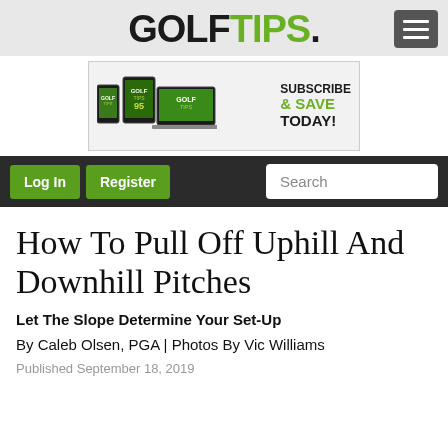GOLF TIPS
[Figure (screenshot): Golf Tips magazine subscription advertisement banner showing devices (phone, tablet, laptop) with the text SUBSCRIBE & SAVE TODAY!]
[Figure (infographic): Navigation bar with Log In and Register green buttons, and a Search input box]
How To Pull Off Uphill And Downhill Pitches
Let The Slope Determine Your Set-Up
By Caleb Olsen, PGA | Photos By Vic Williams
Published September 18, 2019